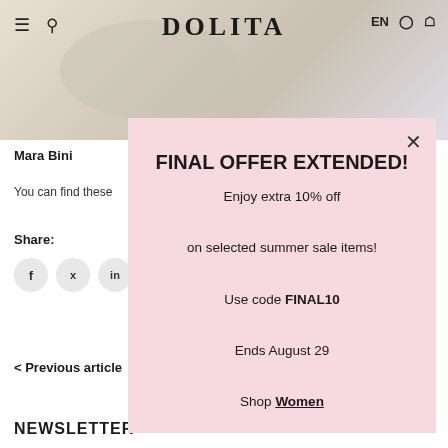[Figure (screenshot): DOLITA website header with navigation bar (hamburger menu, search icon, DOLITA brand name, EN language selector, account icon, cart icon) and a hero image with light beige/gold tones]
Mara Bini
You can find these
Share:
[Figure (illustration): Social share icons: Facebook (f), Twitter (bird), LinkedIn (in) in grey circles]
< Previous article
NEWSLETTER
FINAL OFFER EXTENDED!
Enjoy extra 10% off

on selected summer sale items!

Use code FINAL10

Ends August 29

Shop Women

Shop Men